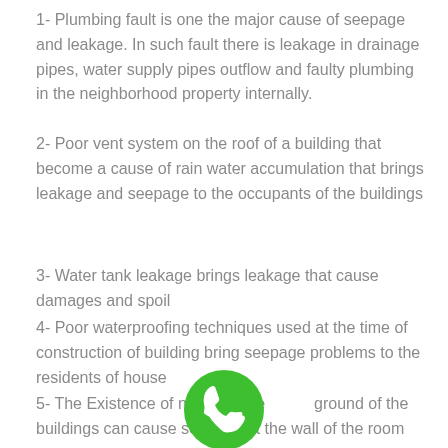1- Plumbing fault is one the major cause of seepage and leakage. In such fault there is leakage in drainage pipes, water supply pipes outflow and faulty plumbing in the neighborhood property internally.
2- Poor vent system on the roof of a building that become a cause of rain water accumulation that brings leakage and seepage to the occupants of the buildings
3- Water tank leakage brings leakage that cause damages and spoil
4- Poor waterproofing techniques used at the time of construction of building bring seepage problems to the residents of house
5- The Existence of natural water under the ground of the buildings can cause seepage at the wall of the room
[Figure (illustration): Green circle phone/call icon button]